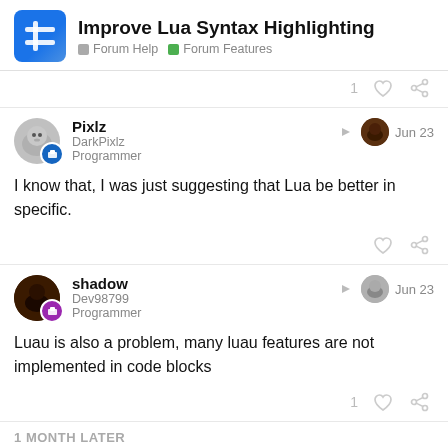Improve Lua Syntax Highlighting | Forum Help | Forum Features
I know that, I was just suggesting that Lua be better in specific.
Luau is also a problem, many luau features are not implemented in code blocks
1 MONTH LATER